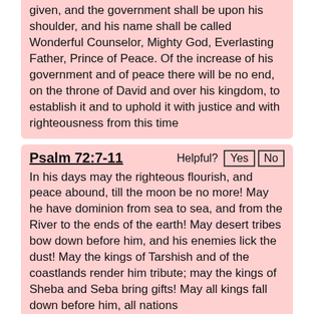given, and the government shall be upon his shoulder, and his name shall be called Wonderful Counselor, Mighty God, Everlasting Father, Prince of Peace. Of the increase of his government and of peace there will be no end, on the throne of David and over his kingdom, to establish it and to uphold it with justice and with righteousness from this time
Psalm 72:7-11
In his days may the righteous flourish, and peace abound, till the moon be no more! May he have dominion from sea to sea, and from the River to the ends of the earth! May desert tribes bow down before him, and his enemies lick the dust! May the kings of Tarshish and of the coastlands render him tribute; may the kings of Sheba and Seba bring gifts! May all kings fall down before him, all nations
2 Corinthians 5:20
Therefore, we are ambassadors for Christ, God making his appeal through us.